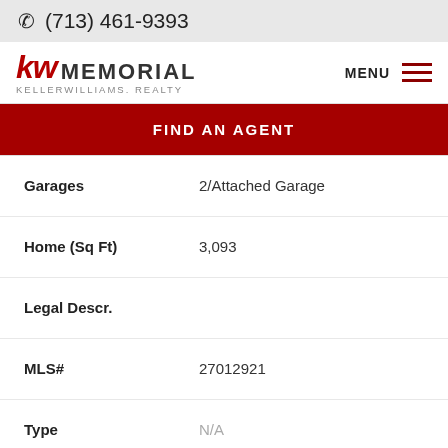(713) 461-9393
[Figure (logo): KW Memorial Keller Williams Realty logo with red KW letters and MEMORIAL in dark text]
FIND AN AGENT
| Field | Value |
| --- | --- |
| Garages | 2/Attached Garage |
| Home (Sq Ft) | 3,093 |
| Legal Descr. |  |
| MLS# | 27012921 |
| Type | N/A |
| Lot (Sq Ft) | 6,695 |
| Bathrooms | 3 Full & 1 Half |
| Year Built | 1996 |